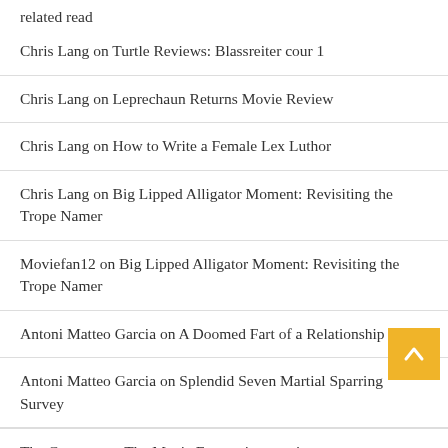Chris Lang on Turtle Reviews: Blassreiter cour 1
Chris Lang on Leprechaun Returns Movie Review
Chris Lang on How to Write a Female Lex Luthor
Chris Lang on Big Lipped Alligator Moment: Revisiting the Trope Namer
Moviefan12 on Big Lipped Alligator Moment: Revisiting the Trope Namer
Antoni Matteo Garcia on A Doomed Fart of a Relationship
Antoni Matteo Garcia on Splendid Seven Martial Sparring Survey
The Creature on The Manic Expression movie